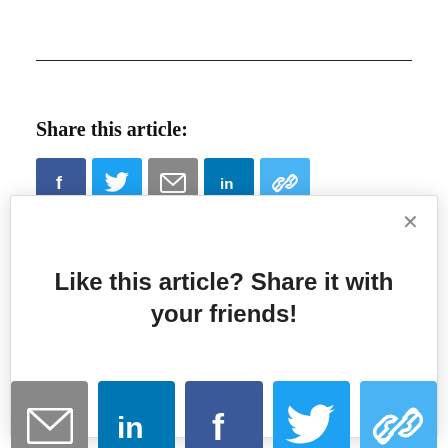Share this article:
[Figure (screenshot): Social share buttons row: Facebook (dark blue), Twitter (blue), Email (gray), LinkedIn (dark blue), Link (light blue)]
[Figure (screenshot): Modal popup with title 'Like this article? Share it with your friends!' and five social share icon buttons: Email (gray), LinkedIn (dark blue), Facebook (dark blue), Twitter (blue), Link (light blue). An X close button is in the top right corner.]